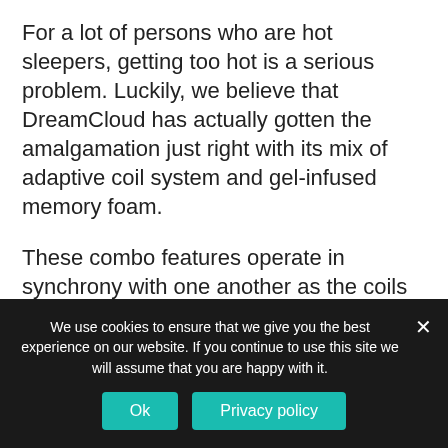For a lot of persons who are hot sleepers, getting too hot is a serious problem. Luckily, we believe that DreamCloud has actually gotten the amalgamation just right with its mix of adaptive coil system and gel-infused memory foam.
These combo features operate in synchrony with one another as the coils assist in the cool flow of air through the bed mattress, while the gel memory foam helps in disseminating your body heat and thus
We use cookies to ensure that we give you the best experience on our website. If you continue to use this site we will assume that you are happy with it.